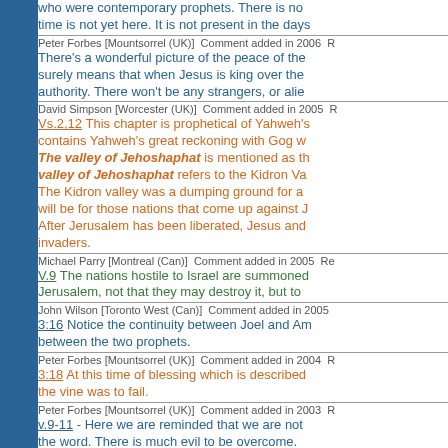who were contemporary prophets. There is no time is not yet here. It is not present in the days
Peter Forbes [Mountsorrel (UK)]  Comment added in 2006
There's a wonderful picture of the peace of the surely means that when Jesus is king over the authority. There won't be any strangers, or alie
David Simpson [Worcester (UK)]  Comment added in 2005
Vs.2,12 This chapter is prophetical of Yahweh's contains Yahweh's great reckoning with Gog w The valley of Jehoshaphat is mentioned as th valley of Jehoshaphat refers to the Kidron Va The Kidron valley was a dumping ground for a will be for those nations that come up against J After Jerusalem has been liberated, Jesus and invaders.
Michael Parry [Montreal (Can)]  Comment added in 2005
V.9 The nations hostile to Israel are summoned Jerusalem, not that they may destroy it, but to
John Wilson [Toronto West (Can)]  Comment added in 2005
3:16 Notice the continuity between Joel and Amos between the two prophets.
Peter Forbes [Mountsorrel (UK)]  Comment added in 2004
3:18 At this time of blessing which is described the vine was to fail.
Peter Forbes [Mountsorrel (UK)]  Comment added in 2003
v.9-11 - Here we are reminded that we are not the word. There is much evil to be overcome.
Peter  [UK]  Comment added in 2002  Reply to Peter
3:18 The association of a time of plenty is seen